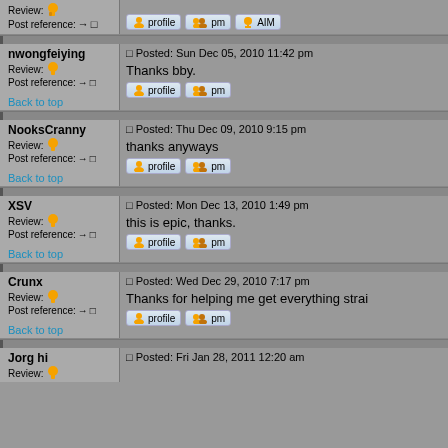Review: [thumb] Post reference: →□
Back to top | profile | pm | AIM
nwongfeiying
Review: [thumb]
Post reference: →□
Posted: Sun Dec 05, 2010 11:42 pm
Thanks bby.
Back to top | profile | pm
NooksCranny
Review: [thumb]
Post reference: →□
Posted: Thu Dec 09, 2010 9:15 pm
thanks anyways
Back to top | profile | pm
XSV
Review: [thumb]
Post reference: →□
Posted: Mon Dec 13, 2010 1:49 pm
this is epic, thanks.
Back to top | profile | pm
Crunx
Review: [thumb]
Post reference: →□
Posted: Wed Dec 29, 2010 7:17 pm
Thanks for helping me get everything strai...
Back to top | profile | pm
Jorg hi
Posted: Fri Jan 28, 2011 12:20 am